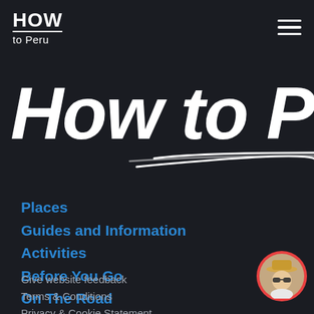HOW to Peru
[Figure (logo): HOW to Peru website logo with hamburger menu icon]
How to Peru
Places
Guides and Information
Activities
Before You Go
On The Road
About Peru
Bus
Give website feedback
Terms & Conditions
Privacy & Cookie Statement